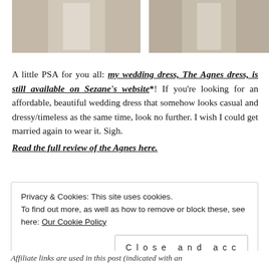[Figure (photo): Two side-by-side wedding dress photos showing a woman in a white dress in a field setting]
A little PSA for you all: my wedding dress, The Agnes dress, is still available on Sezane's website*! If you're looking for an affordable, beautiful wedding dress that somehow looks casual and dressy/timeless as the same time, look no further. I wish I could get married again to wear it. Sigh. Read the full review of the Agnes here.
Privacy & Cookies: This site uses cookies. To find out more, as well as how to remove or block these, see here: Our Cookie Policy
Close and accept
Affiliate links are used in this post (indicated with an